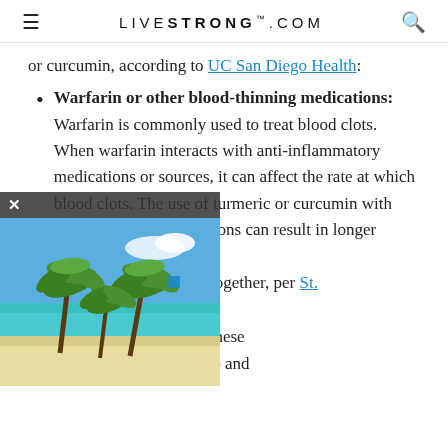LIVESTRONG.COM
or curcumin, according to UC San Diego Health:
Warfarin or other blood-thinning medications: Warfarin is commonly used to treat blood clots. When warfarin interacts with anti-inflammatory medications or sources, it can affect the rate at which blood clots. The use of turmeric or curcumin with blood-thinning medications can result in longer bleeding times and should be avoided altogether, per St. [Hospital].
[Figure (photo): Beach scene with palm trees and turquoise water, partially overlapping the article text as an advertisement overlay]
Medications that reduce stomach acid: These include omeprazole (Prilosec) and